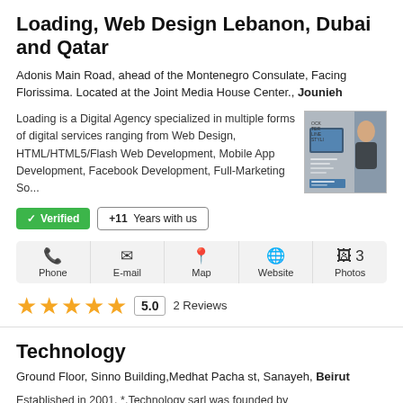Loading, Web Design Lebanon, Dubai and Qatar
Adonis Main Road, ahead of the Montenegro Consulate, Facing Florissima. Located at the Joint Media House Center., Jounieh
Loading is a Digital Agency specialized in multiple forms of digital services ranging from Web Design, HTML/HTML5/Flash Web Development, Mobile App Development, Facebook Development, Full-Marketing So...
[Figure (photo): Thumbnail image of a person with a tablet device and printed materials]
✓ Verified   +11 Years with us
Phone  E-mail  Map  Website  3 Photos
★★★★★ 5.0  2 Reviews
Technology
Ground Floor, Sinno Building,Medhat Pacha st, Sanayeh, Beirut
Established in 2001, *.Technology sarl was founded by H.E. Dr. Ghinwa Jalloul, former Parliamentarian and Chair
[Figure (logo): ECHNOL text logo]